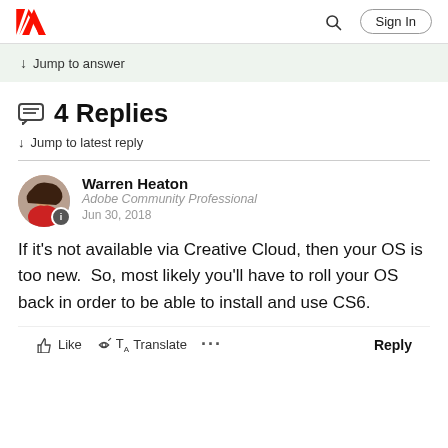Adobe | Sign In
↓ Jump to answer
4 Replies
↓ Jump to latest reply
Warren Heaton
Adobe Community Professional
Jun 30, 2018
If it's not available via Creative Cloud, then your OS is too new.  So, most likely you'll have to roll your OS back in order to be able to install and use CS6.
Like  Translate  ...  Reply